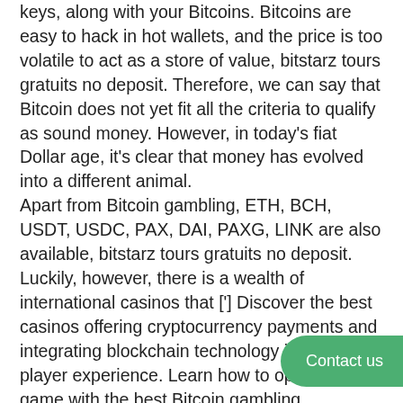keys, along with your Bitcoins. Bitcoins are easy to hack in hot wallets, and the price is too volatile to act as a store of value, bitstarz tours gratuits no deposit. Therefore, we can say that Bitcoin does not yet fit all the criteria to qualify as sound money. However, in today's fiat Dollar age, it's clear that money has evolved into a different animal.
Apart from Bitcoin gambling, ETH, BCH, USDT, USDC, PAX, DAI, PAXG, LINK are also available, bitstarz tours gratuits no deposit.
Luckily, however, there is a wealth of international casinos that ['] Discover the best casinos offering cryptocurrency payments and integrating blockchain technology into your player experience. Learn how to optimize your game with the best Bitcoin gambling strategies, bitstarz tours gratuits no deposit. Play any of your favorite games using a variety of supported cryptocurrencies.
Contact us